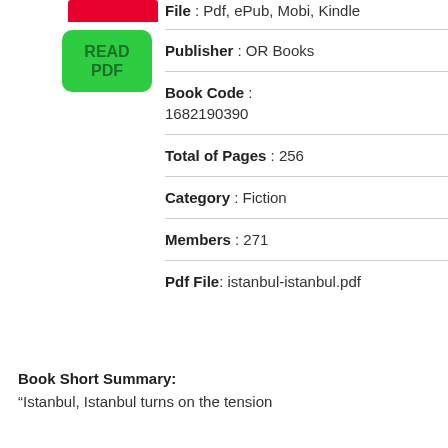[Figure (illustration): Red banner/strip at top left column]
[Figure (illustration): Green READ PDF button]
File : Pdf, ePub, Mobi, Kindle
Publisher : OR Books
Book Code : 1682190390
Total of Pages : 256
Category : Fiction
Members : 271
Pdf File: istanbul-istanbul.pdf
Book Short Summary:
“Istanbul, Istanbul turns on the tension